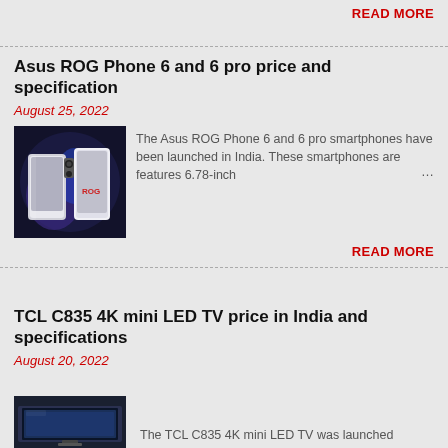READ MORE
Asus ROG Phone 6 and 6 pro price and specification
August 25, 2022
[Figure (photo): Asus ROG Phone 6 smartphone product photo on dark background]
The Asus ROG Phone 6 and 6 pro smartphones have been launched in India. These smartphones are features 6.78-inch …
READ MORE
TCL C835 4K mini LED TV price in India and specifications
August 20, 2022
[Figure (photo): TCL C835 4K mini LED TV product photo]
The TCL C835 4K mini LED TV was launched